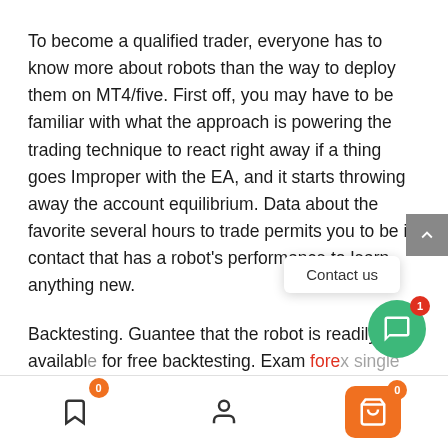To become a qualified trader, everyone has to know more about robots than the way to deploy them on MT4/five. First off, you may have to be familiar with what the approach is powering the trading technique to react right away if a thing goes Improper with the EA, and it starts throwing away the account equilibrium. Data about the favorite several hours to trade permits you to be in contact that has a robot's performance to learn anything new.
Backtesting. Guantee that the robot is readily available for free backtesting. Exam fore[x] [sin]gle the robot comprehensively less than diverse options to